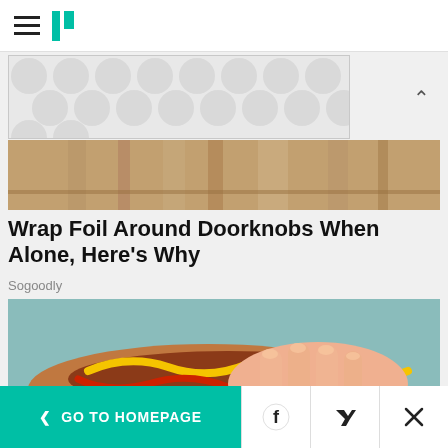HuffPost navigation header with hamburger menu and logo
[Figure (other): Advertisement banner with grey polka dot / bubble pattern]
[Figure (photo): Close-up photo of wooden or metallic shelving/cabinet interior, warm brown tones]
Wrap Foil Around Doorknobs When Alone, Here's Why
Sogoodly
[Figure (illustration): Illustrated hand gripping a hot dog with ketchup and mustard in a bun, against a teal/blue-grey background]
< GO TO HOMEPAGE | Facebook | Twitter | X (close)